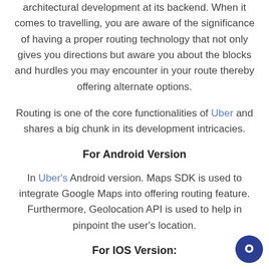architectural development at its backend. When it comes to travelling, you are aware of the significance of having a proper routing technology that not only gives you directions but aware you about the blocks and hurdles you may encounter in your route thereby offering alternate options.
Routing is one of the core functionalities of Uber and shares a big chunk in its development intricacies.
For Android Version
In Uber's Android version. Maps SDK is used to integrate Google Maps into offering routing feature. Furthermore, Geolocation API is used to help in pinpoint the user's location.
For IOS Version: